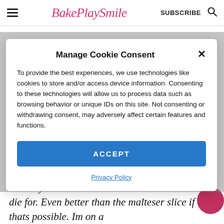BakePlaySmile | SUBSCRIBE
Manage Cookie Consent
To provide the best experiences, we use technologies like cookies to store and/or access device information. Consenting to these technologies will allow us to process data such as browsing behavior or unique IDs on this site. Not consenting or withdrawing consent, may adversely affect certain features and functions.
ACCEPT
Privacy Policy
"Finally I have made this slice. And OMG its to die for. Even better than the malteser slice if thats possible. Im on a